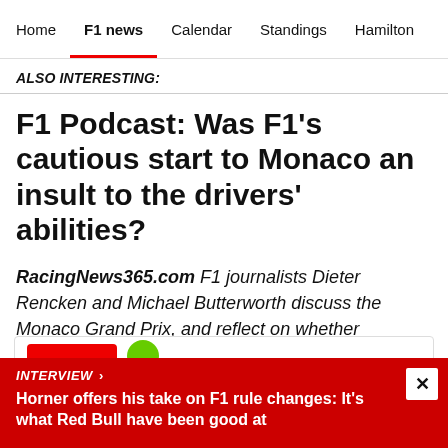Home | F1 news | Calendar | Standings | Hamilton
ALSO INTERESTING:
F1 Podcast: Was F1's cautious start to Monaco an insult to the drivers' abilities?
RacingNews365.com F1 journalists Dieter Rencken and Michael Butterworth discuss the Monaco Grand Prix, and reflect on whether decisions made by the Race Director were overly cautious.
INTERVIEW Horner offers his take on F1 rule changes: It's what Red Bull have been good at